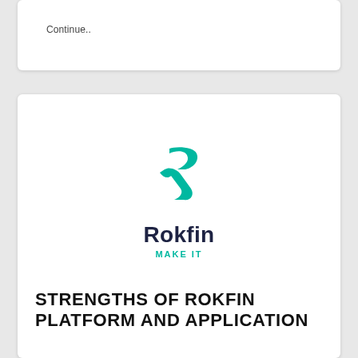Continue..
[Figure (logo): Rokfin logo: teal stylized R/lightning bolt icon above the text 'Rokfin' in dark navy, with 'MAKE IT' in teal below]
STRENGTHS OF ROKFIN PLATFORM AND APPLICATION